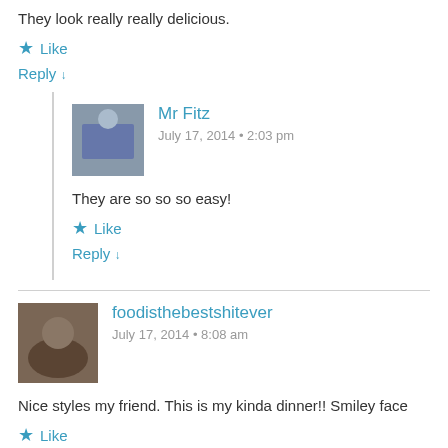They look really really delicious.
Like
Reply ↓
Mr Fitz
July 17, 2014 • 2:03 pm
They are so so so easy!
Like
Reply ↓
foodisthebestshitever
July 17, 2014 • 8:08 am
Nice styles my friend. This is my kinda dinner!! Smiley face
Like